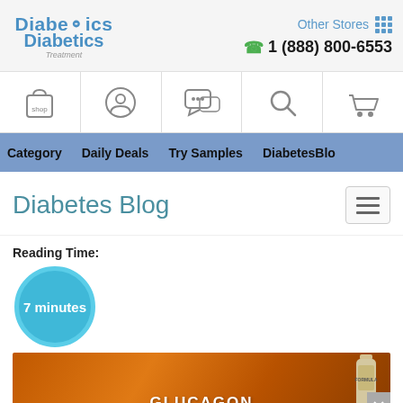Diabetics Treatment | Other Stores | 1 (888) 800-6553
[Figure (screenshot): Navigation icon bar with shop bag, user profile, chat, search, and cart icons]
[Figure (screenshot): Blue navigation bar with links: Category, Daily Deals, Try Samples, DiabetesBlog]
Diabetes Blog
Reading Time:
[Figure (infographic): Teal circle badge showing '7 minutes' reading time]
[Figure (photo): Orange background product image with text 'GLUCAGON' visible at bottom and a supplement bottle on the right]